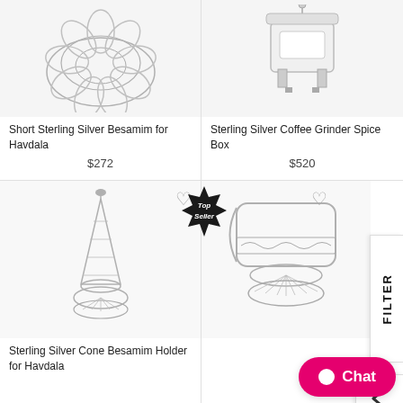[Figure (photo): Short Sterling Silver Besamim flower-shaped filigree item, top portion visible]
Short Sterling Sterling Silver Besamim for Havdala
$272
[Figure (photo): Sterling Silver Coffee Grinder Spice Box, white enamel miniature stove shape]
Sterling Silver Coffee Grinder Spice Box
$520
[Figure (photo): Sterling Silver Cone Besamim Holder for Havdala, tall cone-shaped filigree spice holder with bird on top]
Sterling Silver Cone Besamim Holder for Havdala
[Figure (photo): Partially visible sterling silver cup/spice holder with ornate base, partially cut off by Filter panel]
Top Seller badge
FILTER
Chat